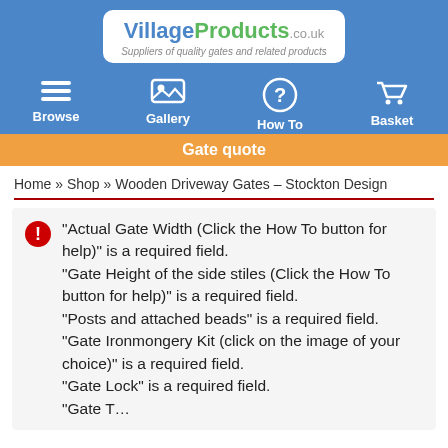[Figure (logo): VillageProducts.co.uk logo with tagline 'Suppliers of quality gates and related products']
[Figure (infographic): Navigation bar with Browse, Gallery, How To, and Basket icons on blue background]
Gate quote
Home » Shop » Wooden Driveway Gates – Stockton Design
"Actual Gate Width (Click the How To button for help)" is a required field.
"Gate Height of the side stiles (Click the How To button for help)" is a required field.
"Posts and attached beads" is a required field.
"Gate Ironmongery Kit (click on the image of your choice)" is a required field.
"Gate Lock" is a required field.